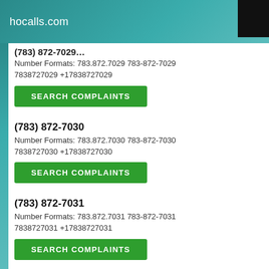hocalls.com
Number Formats: 783.872.7029 783-872-7029 7838727029 +17838727029
SEARCH COMPLAINTS
(783) 872-7030
Number Formats: 783.872.7030 783-872-7030 7838727030 +17838727030
SEARCH COMPLAINTS
(783) 872-7031
Number Formats: 783.872.7031 783-872-7031 7838727031 +17838727031
SEARCH COMPLAINTS
(783) 872-7032